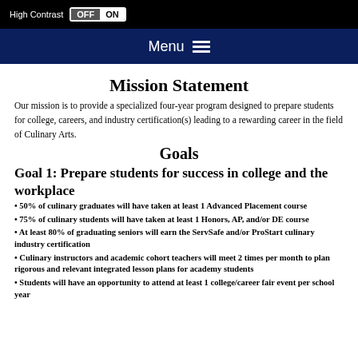High Contrast OFF ON
Menu
Mission Statement
Our mission is to provide a specialized four-year program designed to prepare students for college, careers, and industry certification(s) leading to a rewarding career in the field of Culinary Arts.
Goals
Goal 1: Prepare students for success in college and the workplace
• 50% of culinary graduates will have taken at least 1 Advanced Placement course
• 75% of culinary students will have taken at least 1 Honors, AP, and/or DE course
• At least 80% of graduating seniors will earn the ServSafe and/or ProStart culinary industry certification
• Culinary instructors and academic cohort teachers will meet 2 times per month to plan rigorous and relevant integrated lesson plans for academy students
• Students will have an opportunity to attend at least 1 college/career fair event per school year